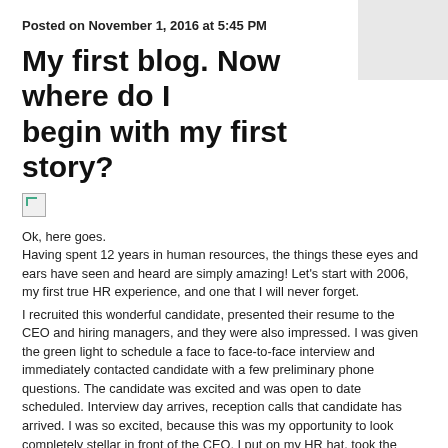Posted on November 1, 2016 at 5:45 PM
My first blog. Now where do I begin with my first story?
[Figure (photo): Broken image placeholder icon]
Ok, here goes.
Having spent 12 years in human resources, the things these eyes and ears have seen and heard are simply amazing! Let's start with 2006, my first true HR experience, and one that I will never forget.
I recruited this wonderful candidate, presented their resume to the CEO and hiring managers, and they were also impressed. I was given the green light to schedule a face to face-to-face interview and immediately contacted candidate with a few preliminary phone questions. The candidate was excited and was open to date scheduled. Interview day arrives, reception calls that candidate has arrived. I was so excited, because this was my opportunity to look completely stellar in front of the CEO. I put on my HR hat, took the elevator downstairs, marched right towards candidate, whose first impression passed the test, we shook hands, entered the elevator to the top floor, stopped off in the kitchen for cup of coffee and placed candidate in the conference room.
One by one the hiring managers arrived, of course can't expect them all to be on time..too easy! The CEO walks in confident as always with a stern look of “where is my future employee?”. He